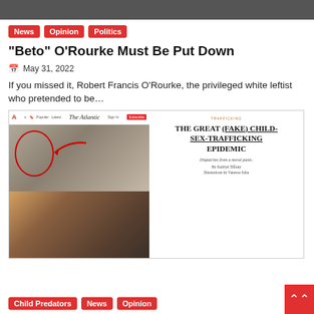[Figure (photo): Cropped top portion of a photograph, partially visible at top of page]
News
Opinion
Politics
“Beto” O’Rourke Must Be Put Down
May 31, 2022
If you missed it, Robert Francis O’Rourke, the privileged white leftist who pretended to be…
[Figure (screenshot): Screenshot of The Atlantic website showing article 'THE GREAT (FAKE) CHILD-SEX-TRAFFICKING EPIDEMIC' with photos including circled person with red arrow annotation, and photos of two men below]
Child Predators
News
Opinion